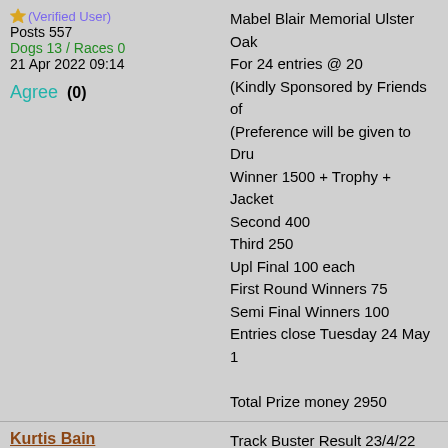Mabel Blair Memorial Ulster Oak For 24 entries @ 20 (Kindly Sponsored by Friends of (Preference will be given to Dru Winner 1500 + Trophy + Jacket Second 400 Third 250 Upl Final 100 each First Round Winners 75 Semi Final Winners 100 Entries close Tuesday 24 May 1 Total Prize money 2950
Kurtis Bain United Kingdom (Verified User) Posts 557 Dogs 13 / Races 0 21 Apr 2022 09:14 Agree (0)
Track Buster Result 23/4/22 1-3-3 Winner was Marty McAliskey, Co Last weeks winner 16/4/22 was
Kurtis Bain United Kingdom (Verified User) Posts 557 Dogs 13 / Races 0 24 Apr 2022 10:24 Agree (0)
Track Buster Result 30/4/22 1-3-4 Winner was Brendan Lewsley,
Kurtis Bain United Kingdom (Verified User) Posts 557 Dogs 13 / Races 0